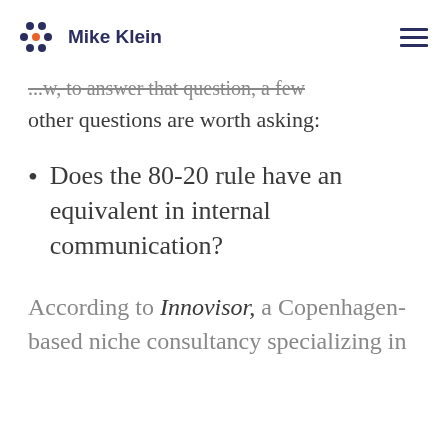Mike Klein
...w, to answer that question, a few other questions are worth asking:
Does the 80-20 rule have an equivalent in internal communication?
According to Innovisor, a Copenhagen-based niche consultancy specializing in